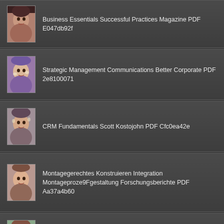Business Essentials Successful Practices Magazine PDF E047db92f
Strategic Management Communications Better Corporate PDF 2e8100071
CRM Fundamentals Scott Kostojohn PDF Cfc0ea42e
Montagegerechtes Konstruieren Integration Montageproze9Fgestaltung Forschungsberichte PDF Aa37a4b60
Data Warehousing Ultimate Corporate Intelligence PDF 66dc1eb0a